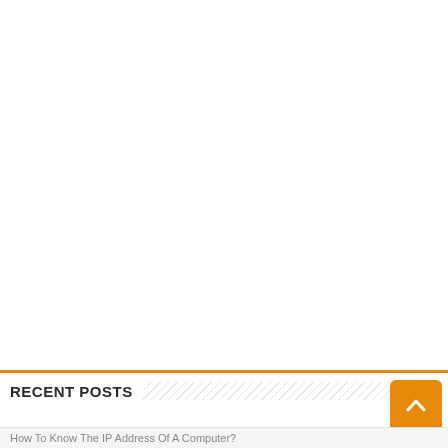RECENT POSTS
How To Know The IP Address Of A Computer?